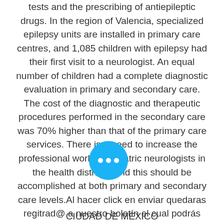tests and the prescribing of antiepileptic drugs. In the region of Valencia, specialized epilepsy units are installed in primary care centres, and 1,085 children with epilepsy had their first visit to a neurologist. An equal number of children had a complete diagnostic evaluation in primary and secondary care. The cost of the diagnostic and therapeutic procedures performed in the secondary care was 70% higher than that of the primary care services. There is a need to increase the professional work of pediatric neurologists in the health districts, and this should be accomplished at both primary and secondary care levels.Al hacer click en enviar quedaras regitrad@ a nuestro boletín el cual podrás cancelar en cualquier momento;no olvides revisar tu carpeta de spam.
CIUDAD DE MÉXICO